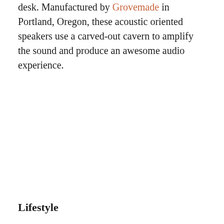desk. Manufactured by Grovemade in Portland, Oregon, these acoustic oriented speakers use a carved-out cavern to amplify the sound and produce an awesome audio experience.
Lifestyle